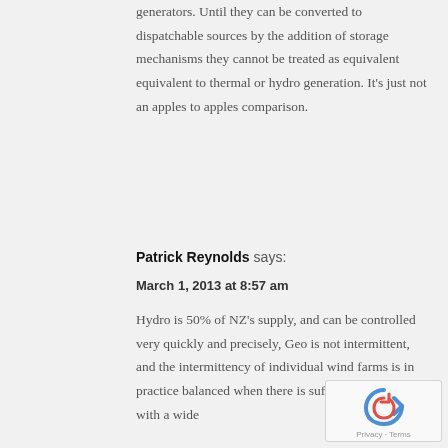generators. Until they can be converted to dispatchable sources by the addition of storage mechanisms they cannot be treated as equivalent equivalent to thermal or hydro generation. It's just not an apples to apples comparison.
Patrick Reynolds says:
March 1, 2013 at 8:57 am
Hydro is 50% of NZ's supply, and can be controlled very quickly and precisely, Geo is not intermittent, and the intermittency of individual wind farms is in practice balanced when there is sufficient quantity with a wide